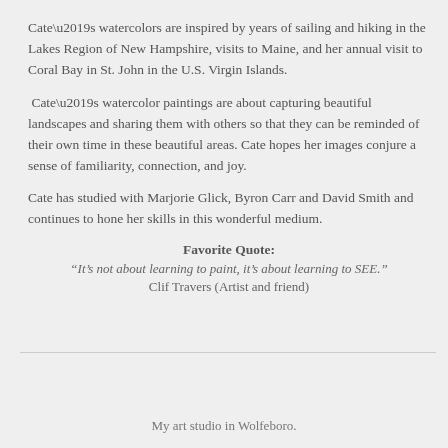Cate’s watercolors are inspired by years of sailing and hiking in the Lakes Region of New Hampshire, visits to Maine, and her annual visit to Coral Bay in St. John in the U.S. Virgin Islands.
Cate’s watercolor paintings are about capturing beautiful landscapes and sharing them with others so that they can be reminded of their own time in these beautiful areas. Cate hopes her images conjure a sense of familiarity, connection, and joy.
Cate has studied with Marjorie Glick, Byron Carr and David Smith and continues to hone her skills in this wonderful medium.
Favorite Quote:
“It’s not about learning to paint, it’s about learning to SEE.”
Clif Travers (Artist and friend)
My art studio in Wolfeboro.